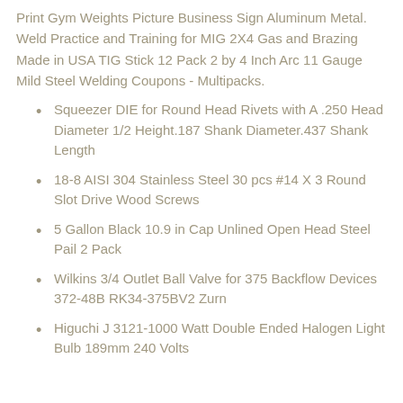Print Gym Weights Picture Business Sign Aluminum Metal. Weld Practice and Training for MIG 2X4 Gas and Brazing Made in USA TIG Stick 12 Pack 2 by 4 Inch Arc 11 Gauge Mild Steel Welding Coupons - Multipacks.
Squeezer DIE for Round Head Rivets with A .250 Head Diameter 1/2 Height.187 Shank Diameter.437 Shank Length
18-8 AISI 304 Stainless Steel 30 pcs #14 X 3 Round Slot Drive Wood Screws
5 Gallon Black 10.9 in Cap Unlined Open Head Steel Pail 2 Pack
Wilkins 3/4 Outlet Ball Valve for 375 Backflow Devices 372-48B RK34-375BV2 Zurn
Higuchi J 3121-1000 Watt Double Ended Halogen Light Bulb 189mm 240 Volts